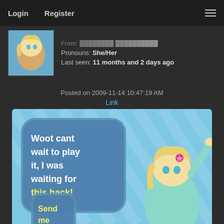Login   Register
Pronouns: She/Her
Last seen: 11 months and 2 days ago
Posted on 2009-11-14 10:47:19 AM
Link
[Figure (screenshot): Forum post image showing a blue diagonal striped background with a speech bubble saying 'Woot cant wait to play it, I was waiting for this hack!' and a partially visible second bubble saying 'Send me a PM!' with a Rosalina character figure on the right side.]